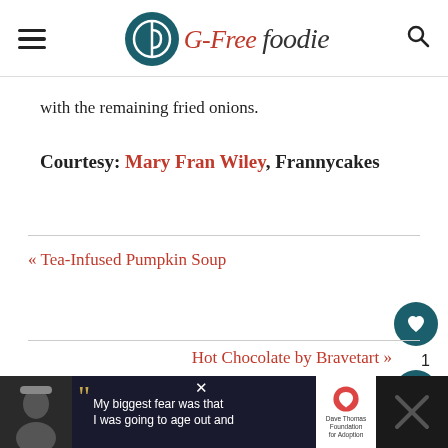G-Free Foodie
with the remaining fried onions.
Courtesy:  Mary Fran Wiley, Frannycakes
« Tea-Infused Pumpkin Soup
Hot Chocolate by Bravetart »
[Figure (other): Advertisement bar: Dave Thomas Foundation for Adoption. Shows a man in a beanie hat with quote 'My biggest fear was that I was going to age out and']